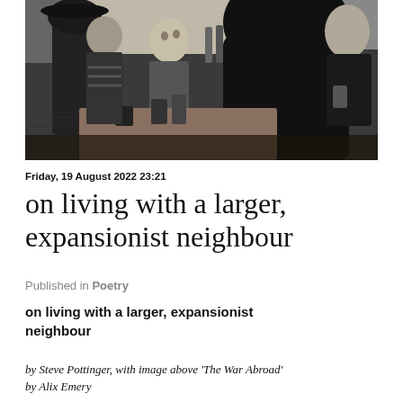[Figure (illustration): Black and white illustration showing people gathered around a table in what appears to be a pub or social setting. A large dark silhouette dominates the foreground right, with several figures visible in the background including people drinking from cups/glasses.]
Friday, 19 August 2022 23:21
on living with a larger, expansionist neighbour
Published in Poetry
on living with a larger, expansionist neighbour
by Steve Pottinger, with image above 'The War Abroad' by Alix Emery